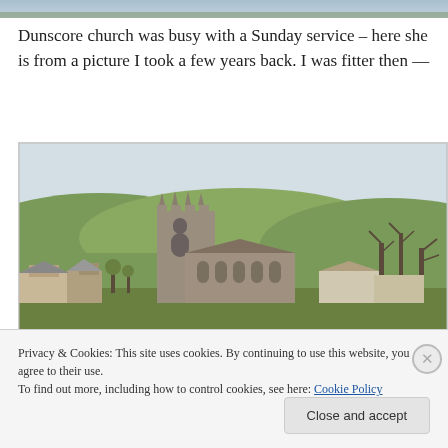[Figure (photo): Top strip of a photo, partially cropped at the top of the page]
Dunscore church was busy with a Sunday service – here she is from a picture I took a few years back. I was fitter then —
[Figure (photo): Photograph of Dunscore church — a stone church with a tall Gothic tower in the foreground, surrounded by village buildings, with green rolling hills in the background under a pale overcast sky. Bare trees visible on the right.]
Privacy & Cookies: This site uses cookies. By continuing to use this website, you agree to their use.
To find out more, including how to control cookies, see here: Cookie Policy